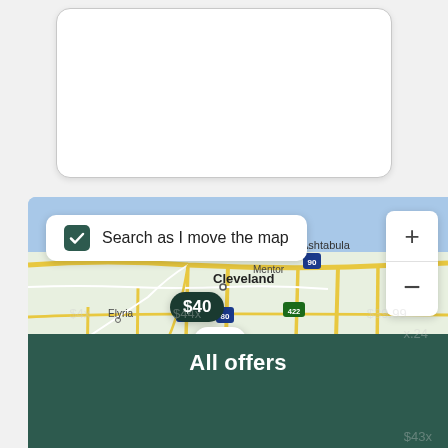[Figure (screenshot): White card/input box at top of screen, rounded rectangle with border]
[Figure (map): Google Maps screenshot showing Cleveland, Ohio area with surrounding cities (Ashtabula, Mentor, Elyria, Warren, Medina). Map shows road network with highways including I-90, I-271, Route 422, Route 80. Price bubbles overlay the map showing rental car prices: $40, $44, $42, $42, $41.65, and partially visible $4x prices. A 'Search as I move the map' checkbox is visible in upper left of map. Zoom +/- controls visible on right side.]
All offers